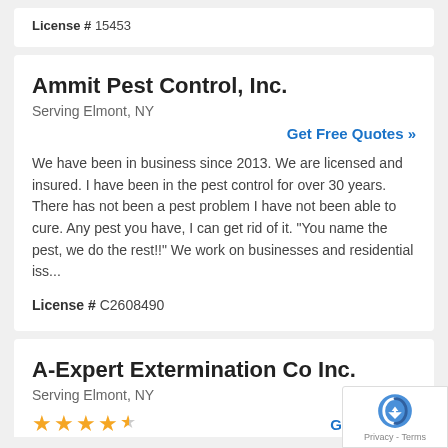License # 15453
Ammit Pest Control, Inc.
Serving Elmont, NY
Get Free Quotes »
We have been in business since 2013. We are licensed and insured. I have been in the pest control for over 30 years. There has not been a pest problem I have not been able to cure. Any pest you have, I can get rid of it. "You name the pest, we do the rest!!" We work on businesses and residential iss...
License # C2608490
A-Expert Extermination Co Inc.
Serving Elmont, NY
Get Free Qu...
[Figure (other): reCAPTCHA badge with Privacy - Terms text]